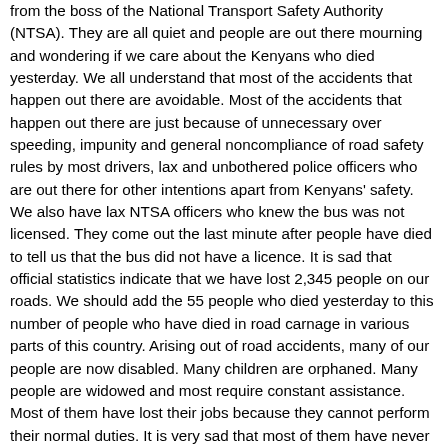from the boss of the National Transport Safety Authority (NTSA). They are all quiet and people are out there mourning and wondering if we care about the Kenyans who died yesterday. We all understand that most of the accidents that happen out there are avoidable. Most of the accidents that happen out there are just because of unnecessary over speeding, impunity and general noncompliance of road safety rules by most drivers, lax and unbothered police officers who are out there for other intentions apart from Kenyans' safety. We also have lax NTSA officers who knew the bus was not licensed. They come out the last minute after people have died to tell us that the bus did not have a licence. It is sad that official statistics indicate that we have lost 2,345 people on our roads. We should add the 55 people who died yesterday to this number of people who have died in road carnage in various parts of this country. Arising out of road accidents, many of our people are now disabled. Many children are orphaned. Many people are widowed and most require constant assistance. Most of them have lost their jobs because they cannot perform their normal duties. It is very sad that most of them have never been compensated arising out of these accidents. A good example are the victims of the current accident. Was the bus insured? Nobody knows. The information out there is that the bus was not insured. We do not know who is